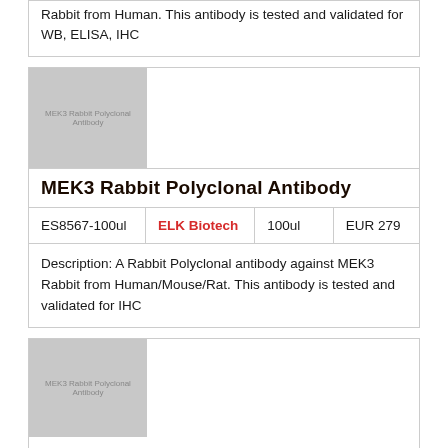Rabbit from Human. This antibody is tested and validated for WB, ELISA, IHC
[Figure (photo): MEK3 Rabbit Polyclonal Antibody product image placeholder]
MEK3 Rabbit Polyclonal Antibody
| ES8567-100ul | ELK Biotech | 100ul | EUR 279 |
| --- | --- | --- | --- |
Description: A Rabbit Polyclonal antibody against MEK3 Rabbit from Human/Mouse/Rat. This antibody is tested and validated for IHC
[Figure (photo): MEK3 Rabbit Polyclonal Antibody product image placeholder (second card)]
MEK3 Rabbit Polyclonal Antibody